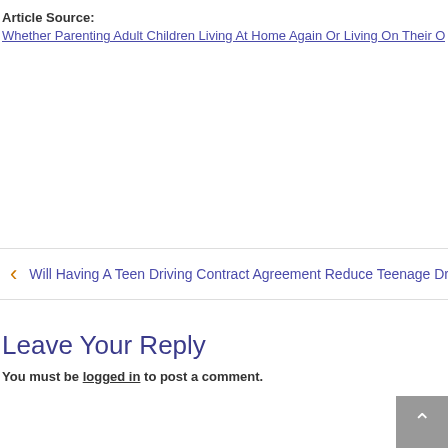Article Source:
Whether Parenting Adult Children Living At Home Again Or Living On Their O...
Will Having A Teen Driving Contract Agreement Reduce Teenage Driv...
Leave Your Reply
You must be logged in to post a comment.